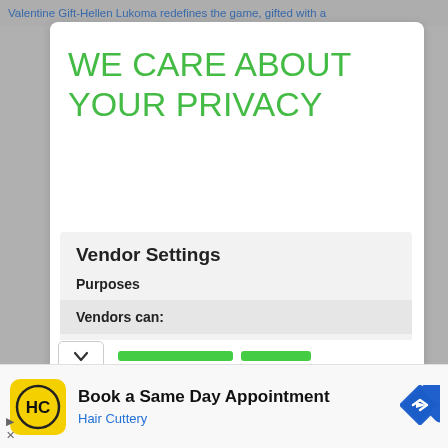Valentine Gift-Hellen Lukoma redefines the game, gifted with a
WE CARE ABOUT YOUR PRIVACY
Vendor Settings
Purposes
Vendors can:
Some partners do not ask for your consent to process your data, instead, they rely on
[Figure (screenshot): Advertisement banner for Hair Cuttery showing logo icon, 'Book a Same Day Appointment' text, 'Hair Cuttery' subtitle in blue, and a blue navigation arrow icon on the right.]